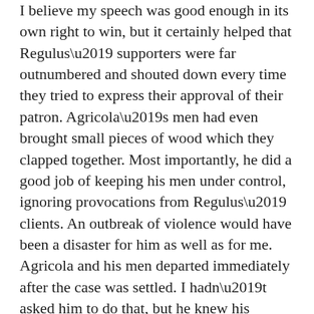I believe my speech was good enough in its own right to win, but it certainly helped that Regulus' supporters were far outnumbered and shouted down every time they tried to express their approval of their patron. Agricola's men had even brought small pieces of wood which they clapped together. Most importantly, he did a good job of keeping his men under control, ignoring provocations from Regulus' clients. An outbreak of violence would have been a disaster for him as well as for me. Agricola and his men departed immediately after the case was settled. I hadn't asked him to do that, but he knew his continued presence in the city would provoke some reaction from Domitian.
“I thought I would find you here.” Tacitus, whose friendship I’ve come to cherish over the last two years, emerged from the shadows and sat down on the bench beside me. He is almost a head taller than I am. Most men of that size intimidate me, but an air of friendliness and good humor emanates from Tacitus as soon as you